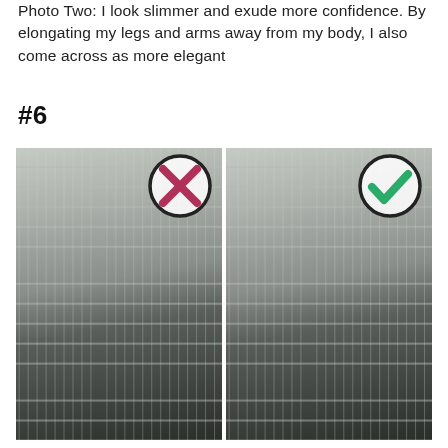Photo Two: I look slimmer and exude more confidence. By elongating my legs and arms away from my body, I also come across as more elegant
#6
[Figure (photo): Two side-by-side photos of a woman in a black outfit outdoors on a bridge/walkway with city buildings in the background. Left photo has a red X circle badge (wrong pose) showing woman leaning with hand on chin. Right photo has a green checkmark circle badge (correct pose) showing woman sitting upright with elongated posture.]